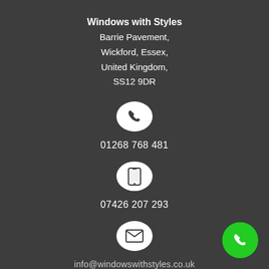Windows with Styles
Barrie Pavement,
Wickford, Essex,
United Kingdom,
SS12 9DR
[Figure (illustration): White circle with phone/call handset icon]
01268 768 481
[Figure (illustration): White circle with mobile/smartphone icon]
07426 207 293
[Figure (illustration): White circle with envelope/email icon]
info@windowswithstyles.co.uk
[Figure (illustration): Green circle button with white phone handset icon in bottom-right corner]